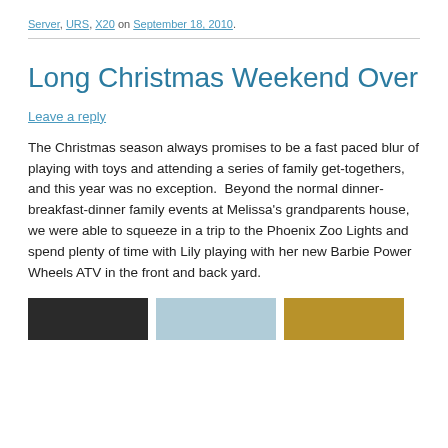Server, URS, X20 on September 18, 2010.
Long Christmas Weekend Over
Leave a reply
The Christmas season always promises to be a fast paced blur of playing with toys and attending a series of family get-togethers, and this year was no exception.  Beyond the normal dinner-breakfast-dinner family events at Melissa's grandparents house, we were able to squeeze in a trip to the Phoenix Zoo Lights and spend plenty of time with Lily playing with her new Barbie Power Wheels ATV in the front and back yard.
[Figure (photo): Three small thumbnail photos at the bottom of the page]